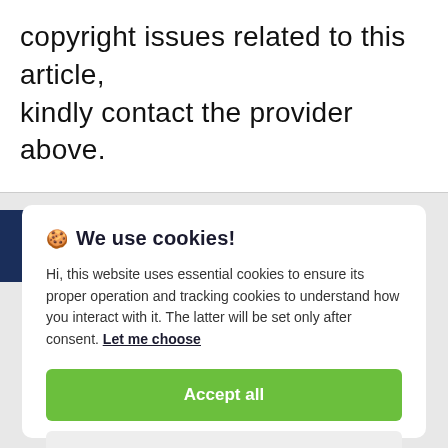copyright issues related to this article, kindly contact the provider above.
[Figure (screenshot): Cookie consent modal dialog with title '🍪 We use cookies!', body text about essential and tracking cookies, a 'Let me choose' link, an 'Accept all' green button, and a 'Reject all' grey button.]